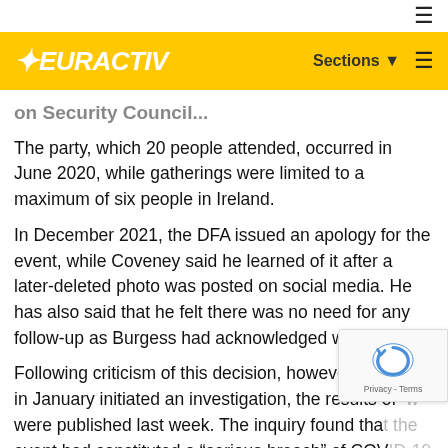EURACTIV — Sections ☰
on Security Council...
The party, which 20 people attended, occurred in June 2020, while gatherings were limited to a maximum of six people in Ireland.
In December 2021, the DFA issued an apology for the event, while Coveney said he learned of it after a later-deleted photo was posted on social media. He has also said that he felt there was no need for any follow-up as Burgess had acknowledged wrongdoing.
Following criticism of this decision, however, Coveney in January initiated an investigation, the results of which were published last week. The inquiry found that the event had constituted a "serious breach" of COVID-19...